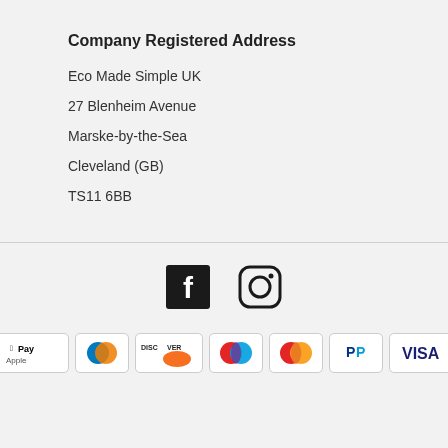Company Registered Address
Eco Made Simple UK
27 Blenheim Avenue
Marske-by-the-Sea
Cleveland (GB)
TS11 6BB
[Figure (logo): Facebook and Instagram social media icons]
[Figure (logo): Payment method icons: Apple Pay, Diners Club, Discover, Maestro, Mastercard, PayPal, Visa]